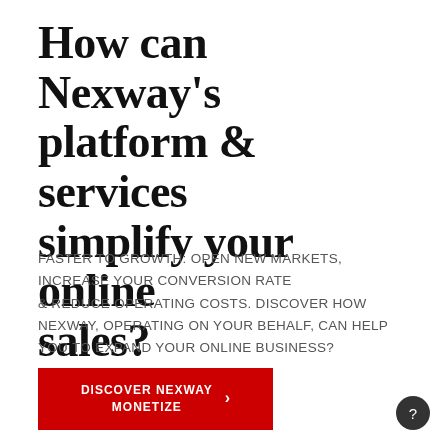How can Nexway's platform & services simplify your online sales?
FASTER TO GROWTH: OPEN NEW MARKETS, INCREASE YOUR CONVERSION RATE & REDUCE OPERATING COSTS. DISCOVER HOW NEXWAY, OPERATING ON YOUR BEHALF, CAN HELP YOU TO EXPAND YOUR ONLINE BUSINESS?
DISCOVER NEXWAY MONETIZE ›